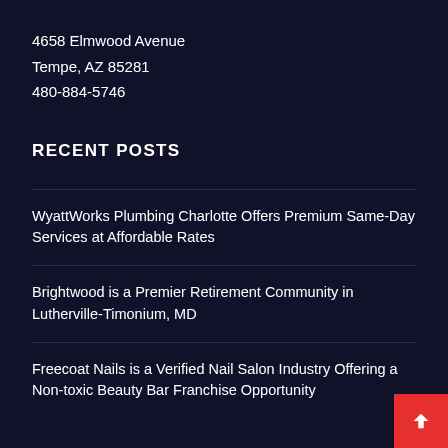4658 Elmwood Avenue
Tempe, AZ 85281
480-884-5746
RECENT POSTS
WyattWorks Plumbing Charlotte Offers Premium Same-Day Services at Affordable Rates
Brightwood is a Premier Retirement Community in Lutherville-Timonium, MD
Freecoat Nails is a Verified Nail Salon Industry Offering a Non-toxic Beauty Bar Franchise Opportunity